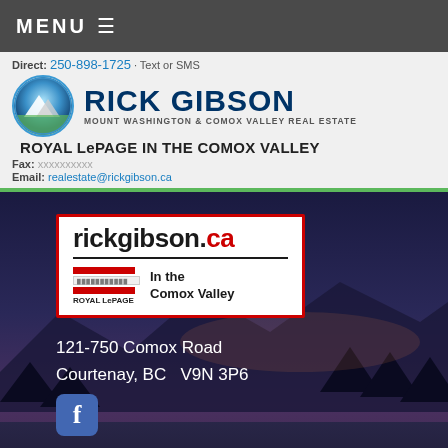MENU ☰
Direct: 250-898-1725 · Text or SMS
[Figure (logo): Rick Gibson Mount Washington & Comox Valley Real Estate logo with circular mountain/water graphic]
ROYAL LePAGE IN THE COMOX VALLEY
Fax:
Email: realestate@rickgibson.ca
[Figure (logo): rickgibson.ca Royal LePage In the Comox Valley card with red border]
121-750 Comox Road
Courtenay, BC   V9N 3P6
[Figure (logo): Facebook icon (blue square with f letter)]
LINKS
MOUNT WASHINGTON REAL ESTATE